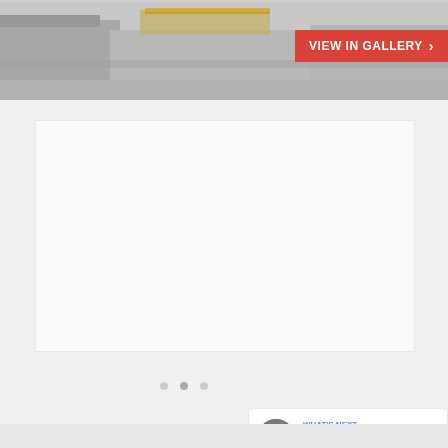[Figure (photo): Top strip showing an architectural exterior photo with stone/concrete surfaces and a golden/glass structure in the background]
VIEW IN GALLERY ›
[Figure (other): Large white/light gray content card area with three dot navigation indicators at the bottom]
[Figure (infographic): UI elements: blue heart/like button, like count showing '2', and a share button]
WHAT'S NEXT → 20 Modern And...